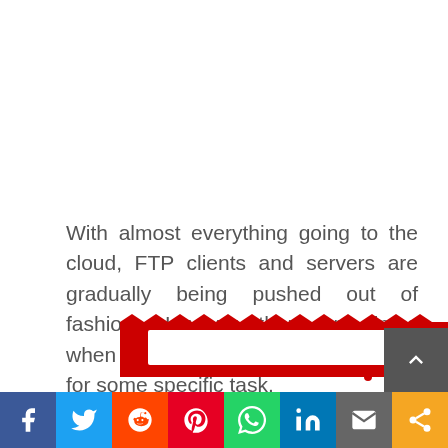With almost everything going to the cloud, FTP clients and servers are gradually being pushed out of fashion. However, there are times when you will need the FTP clients for some specific task.
[Figure (screenshot): Partial view of a Reddit share widget/banner with red ticket-style graphic at the bottom]
[Figure (infographic): Social sharing bar at the bottom with icons for Facebook, Twitter, Reddit, Pinterest, WhatsApp, LinkedIn, Email, and Share]